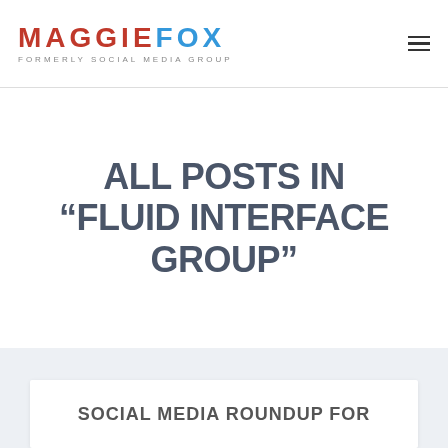MAGGIEFOX — FORMERLY SOCIAL MEDIA GROUP
ALL POSTS IN “FLUID INTERFACE GROUP”
SOCIAL MEDIA ROUNDUP FOR